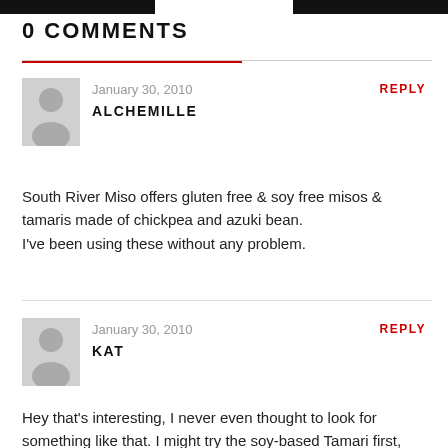0 COMMENTS
January 30, 2010
ALCHEMILLE
REPLY
South River Miso offers gluten free & soy free misos & tamaris made of chickpea and azuki bean.
I've been using these without any problem.
January 30, 2010
KAT
REPLY
Hey that's interesting, I never even thought to look for something like that. I might try the soy-based Tamari first, but if I have any problems I'll be sure to check it out. Thanks!